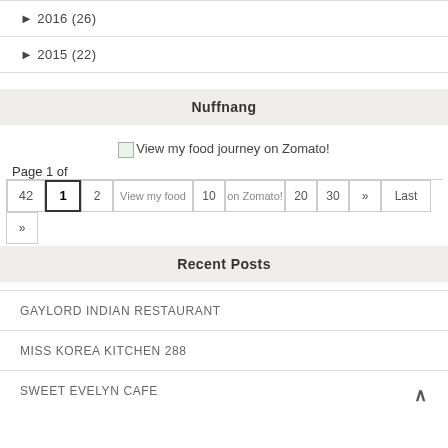► 2016 (26)
► 2015 (22)
Nuffnang
[Figure (other): View my food journey on Zomato! image with pagination controls showing Page 1 of 42, page numbers 1-7 and Last]
Recent Posts
GAYLORD INDIAN RESTAURANT
MISS KOREA KITCHEN 288
SWEET EVELYN CAFE